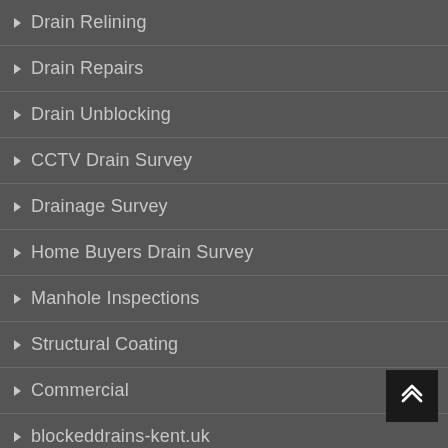Drain Relining
Drain Repairs
Drain Unblocking
CCTV Drain Survey
Drainage Survey
Home Buyers Drain Survey
Manhole Inspections
Structural Coating
Commercial
blockeddrains-kent.uk